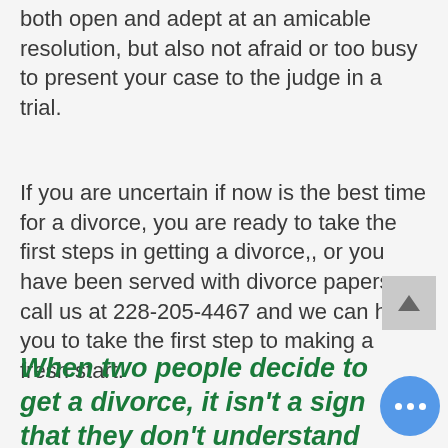both open and adept at an amicable resolution, but also not afraid or too busy to present your case to the judge in a trial.
If you are uncertain if now is the best time for a divorce, you are ready to take the first steps in getting a divorce,, or you have been served with divorce papers, call us at 228-205-4467 and we can help you to take the first step to making a fresh start.
When two people decide to get a divorce, it isn't a sign that they don't understand one another,